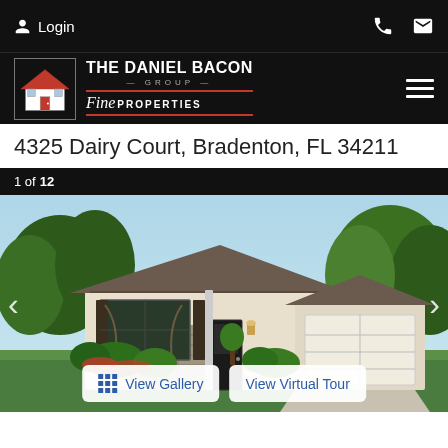Login
[Figure (logo): The Daniel Bacon Group Fine Properties logo with house icon]
4325 Dairy Court, Bradenton, FL 34211
1 of 12
[Figure (photo): Exterior rendering of a single-story home with stone accent, two-car garage, and landscaping]
View Gallery
View Virtual Tour